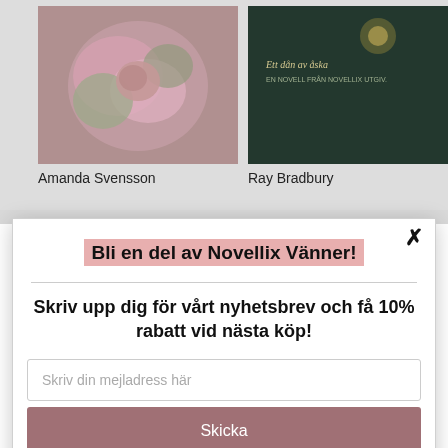[Figure (illustration): Book cover with floral/botanical motif in pink and green tones]
Amanda Svensson
[Figure (illustration): Book cover with dark green tones, text reads 'Ett dån av åska']
Ray Bradbury
Bli en del av Novellix Vänner!
Skriv upp dig för vårt nyhetsbrev och få 10% rabatt vid nästa köp!
Skriv din mejladress här
Skicka
powered by MailMunch